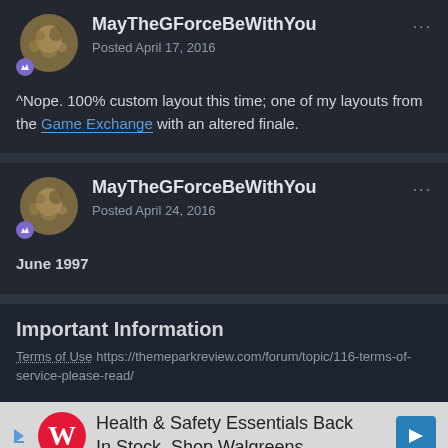MayTheGForceBeWithYou
Posted April 17, 2016
^Nope. 100% custom layout this time; one of my layouts from the Game Exchange with an altered finale.
MayTheGForceBeWithYou
Posted April 24, 2016
June 1997
Important Information
Terms of Use https://themeparkreview.com/forum/topic/116-terms-of-service-please-read/
[Figure (other): Walgreens advertisement banner: Health & Safety Essentials Back In Stock. Shop Walgreens.]